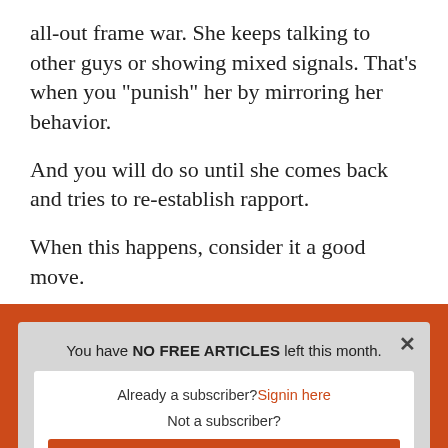all-out frame war. She keeps talking to other guys or showing mixed signals. That’s when you “punish” her by mirroring her behavior.
And you will do so until she comes back and tries to re-establish rapport.
When this happens, consider it a good move.
You have NO FREE ARTICLES left this month. Already a subscriber? Signin here. Not a subscriber? GET UNLIMITED ACCESS TODAY!